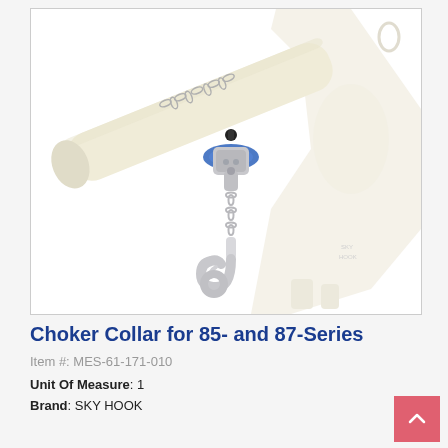[Figure (photo): A Choker Collar device for 85- and 87-Series, showing a beige cylindrical bar/arm with a chain-link collar clamp mechanism (silver and blue) that has a hook hanging from it, and a beige crane arm structure in the background on the right.]
Choker Collar for 85- and 87-Series
Item #: MES-61-171-010
Unit Of Measure: 1
Brand: SKY HOOK